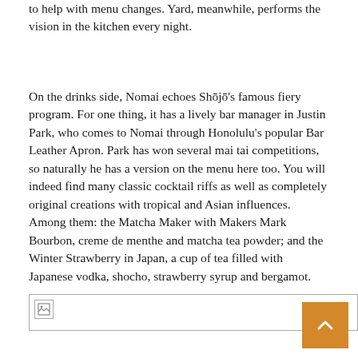to help with menu changes. Yard, meanwhile, performs the vision in the kitchen every night.
On the drinks side, Nomai echoes Shōjō's famous fiery program. For one thing, it has a lively bar manager in Justin Park, who comes to Nomai through Honolulu's popular Bar Leather Apron. Park has won several mai tai competitions, so naturally he has a version on the menu here too. You will indeed find many classic cocktail riffs as well as completely original creations with tropical and Asian influences. Among them: the Matcha Maker with Makers Mark Bourbon, creme de menthe and matcha tea powder; and the Winter Strawberry in Japan, a cup of tea filled with Japanese vodka, shocho, strawberry syrup and bergamot.
[Figure (photo): Partially visible image with broken image icon placeholder at the bottom of the page]